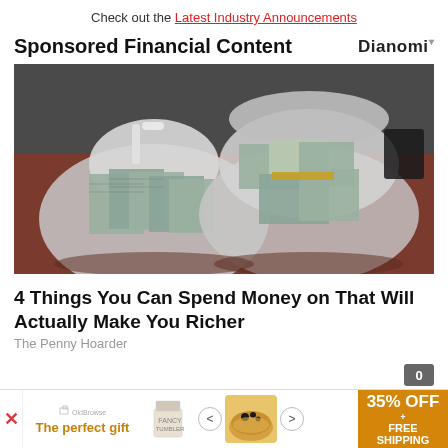Check out the Latest Industry Announcements
Sponsored Financial Content
[Figure (photo): Two large clear plastic bags filled with stacks of US $100 bills sitting on a wooden table surface]
4 Things You Can Spend Money on That Will Actually Make You Richer
The Penny Hoarder
[Figure (infographic): Advertisement banner: The perfect gift with product image and 35% OFF + FREE SHIPPING offer]